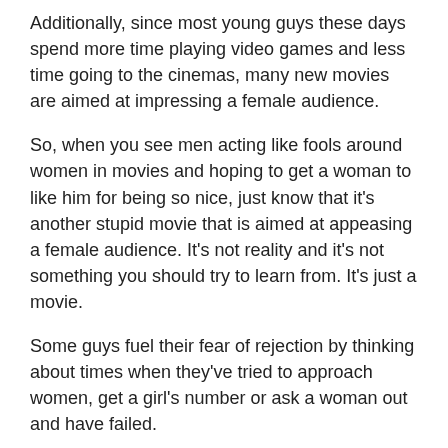Additionally, since most young guys these days spend more time playing video games and less time going to the cinemas, many new movies are aimed at impressing a female audience.
So, when you see men acting like fools around women in movies and hoping to get a woman to like him for being so nice, just know that it's another stupid movie that is aimed at appeasing a female audience. It's not reality and it's not something you should try to learn from. It's just a movie.
Some guys fuel their fear of rejection by thinking about times when they've tried to approach women, get a girl's number or ask a woman out and have failed.
To justify his fear, a guy may say, “Well, I’ve tried in the past and it didn’t work, so what’s the point in trying? Women are just going to reject me. They don’t like me… I’ve tried asking them out and they’re all bloody stuck up or only want a male model.”